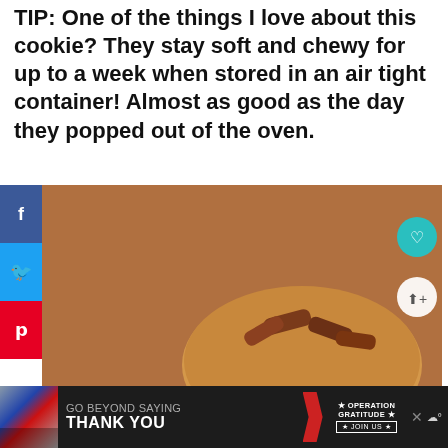TIP: One of the things I love about this cookie? They stay soft and chewy for up to a week when stored in an air tight container! Almost as good as the day they popped out of the oven.
[Figure (photo): Close-up photo of soft peanut butter pecan cookies stacked on top of each other, showing chunky pecan pieces on top, with a social sharing sidebar on the left (Facebook blue, Twitter blue, Pinterest red), a teal heart icon and share count 1.1K on the right side, and a 'What's Next - Peanut Butter Chocolate...' overlay in the bottom right. At the very bottom is an ad banner: 'GO BEYOND SAYING THANK YOU' with an Operation Gratitude logo.]